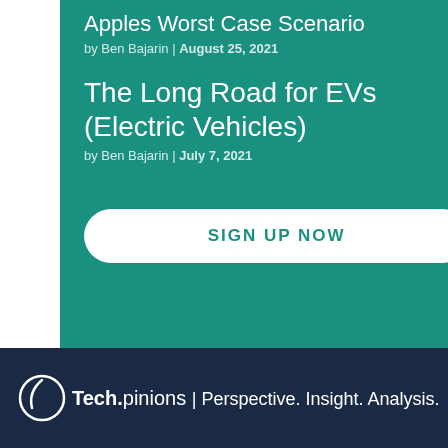Apples Worst Case Scenario
by Ben Bajarin | August 25, 2021
The Long Road for EVs (Electric Vehicles)
by Ben Bajarin | July 7, 2021
SIGN UP NOW
Tech.pinions | Perspective. Insight. Analysis.